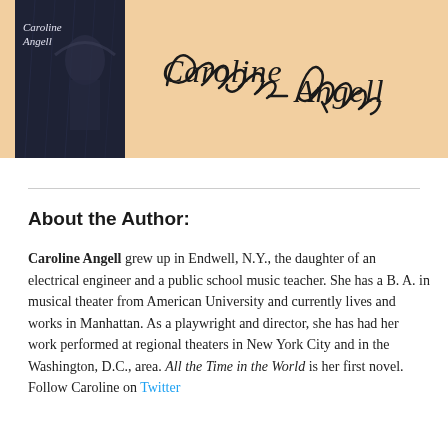[Figure (illustration): Book cover for 'All the Time in the World' by Caroline Angell on a peach/tan background with author's handwritten signature 'Caroline Angell' displayed prominently to the right of the book cover.]
About the Author:
Caroline Angell grew up in Endwell, N.Y., the daughter of an electrical engineer and a public school music teacher. She has a B. A. in musical theater from American University and currently lives and works in Manhattan. As a playwright and director, she has had her work performed at regional theaters in New York City and in the Washington, D.C., area. All the Time in the World is her first novel. Follow Caroline on Twitter